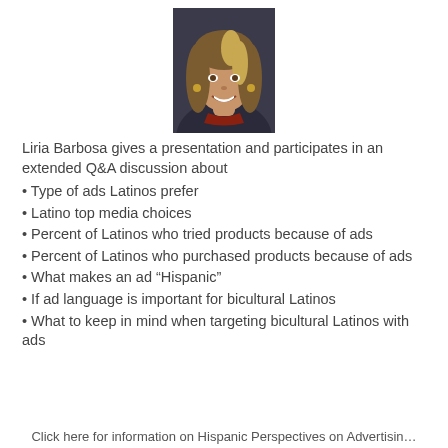[Figure (photo): Headshot of Liria Barbosa, a woman with long blonde-streaked brown hair, smiling, wearing dark clothing, against a dark background.]
Liria Barbosa gives a presentation and participates in an extended Q&A discussion about
• Type of ads Latinos prefer
• Latino top media choices
• Percent of Latinos who tried products because of ads
• Percent of Latinos who purchased products because of ads
• What makes an ad “Hispanic”
• If ad language is important for bicultural Latinos
• What to keep in mind when targeting bicultural Latinos with ads
Click here for information on Hispanic Perspectives on Advertisin…